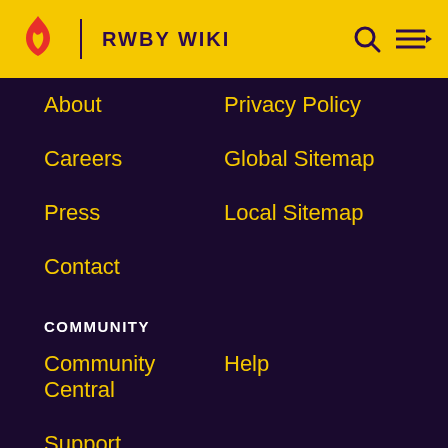RWBY WIKI
About
Privacy Policy
Careers
Global Sitemap
Press
Local Sitemap
Contact
COMMUNITY
Community Central
Help
Support
ADVERTISE
Media Kit
Fandomatc